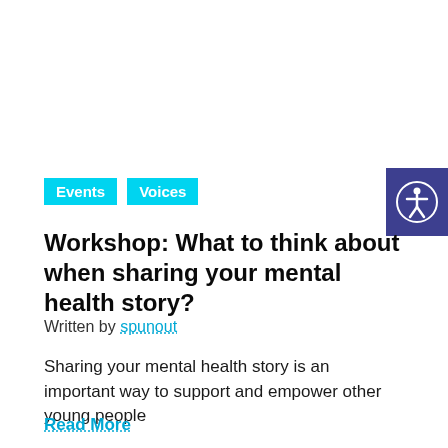Events  Voices
Workshop: What to think about when sharing your mental health story?
Written by spunout
Sharing your mental health story is an important way to support and empower other young people
Read More